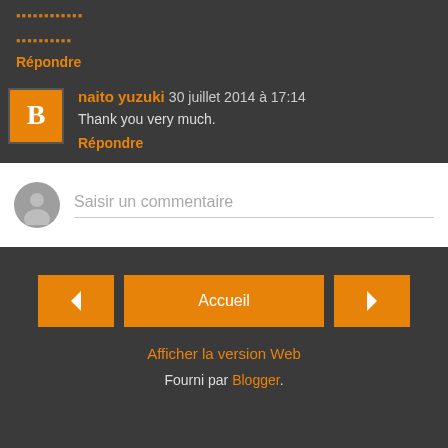▪▪▪▪▪▪▪▪▪▪▪▪ (corrupted text)
▪▪▪▪▪▪▪▪▪▪ (corrupted text)
Répondre
naito yuzuki 30 juillet 2014 à 17:14
Thank you very much.
Répondre
Saisir un commentaire
Accueil
Afficher la version Web
Fourni par Blogger.